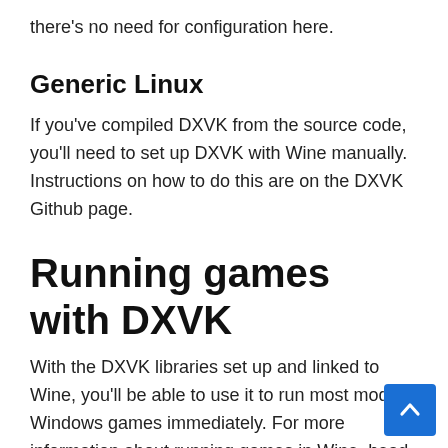there's no need for configuration here.
Generic Linux
If you've compiled DXVK from the source code, you'll need to set up DXVK with Wine manually. Instructions on how to do this are on the DXVK Github page.
Running games with DXVK
With the DXVK libraries set up and linked to Wine, you'll be able to use it to run most modern Windows games immediately. For more information about running games in Wine, head over to WineHQ.org, click on the search box and look through the results for a